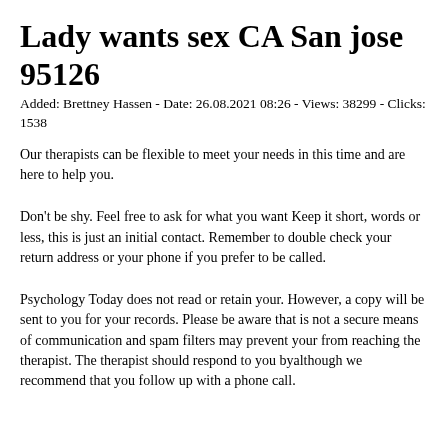Lady wants sex CA San jose 95126
Added: Brettney Hassen - Date: 26.08.2021 08:26 - Views: 38299 - Clicks: 1538
Our therapists can be flexible to meet your needs in this time and are here to help you.
Don't be shy. Feel free to ask for what you want Keep it short, words or less, this is just an initial contact. Remember to double check your return address or your phone if you prefer to be called.
Psychology Today does not read or retain your. However, a copy will be sent to you for your records. Please be aware that is not a secure means of communication and spam filters may prevent your from reaching the therapist. The therapist should respond to you byalthough we recommend that you follow up with a phone call.